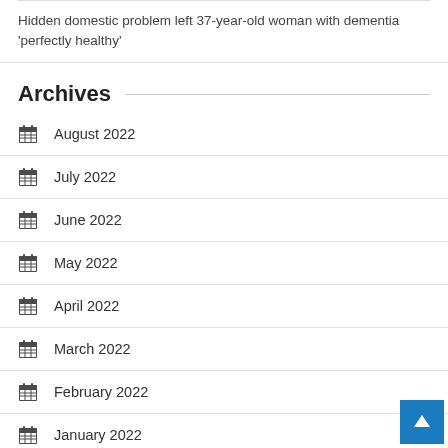Hidden domestic problem left 37-year-old woman with dementia ‘perfectly healthy’
Archives
August 2022
July 2022
June 2022
May 2022
April 2022
March 2022
February 2022
January 2022